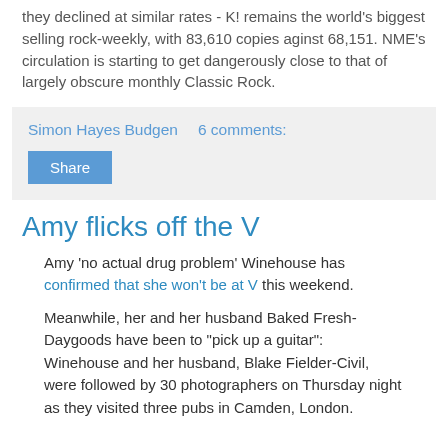they declined at similar rates - K! remains the world's biggest selling rock-weekly, with 83,610 copies aginst 68,151. NME's circulation is starting to get dangerously close to that of largely obscure monthly Classic Rock.
Simon Hayes Budgen   6 comments:
Amy flicks off the V
Amy 'no actual drug problem' Winehouse has confirmed that she won't be at V this weekend.
Meanwhile, her and her husband Baked Fresh-Daygoods have been to "pick up a guitar": Winehouse and her husband, Blake Fielder-Civil, were followed by 30 photographers on Thursday night as they visited three pubs in Camden, London.